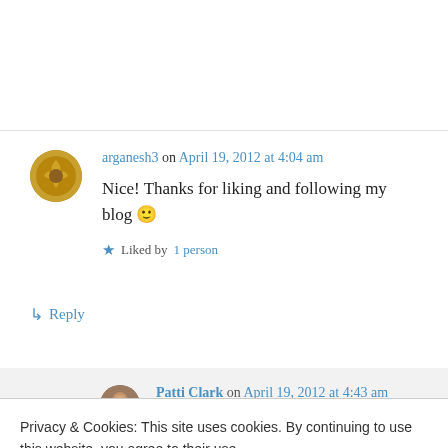arganesh3 on April 19, 2012 at 4:04 am
Nice! Thanks for liking and following my blog 🙂
Liked by 1 person
↳ Reply
Patti Clark on April 19, 2012 at 4:43 am
Privacy & Cookies: This site uses cookies. By continuing to use this website, you agree to their use. To find out more, including how to control cookies, see here: Cookie Policy
Close and accept